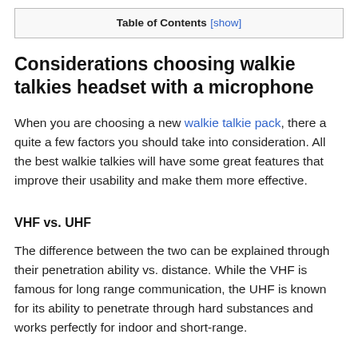| Table of Contents [show] |
Considerations choosing walkie talkies headset with a microphone
When you are choosing a new walkie talkie pack, there a quite a few factors you should take into consideration. All the best walkie talkies will have some great features that improve their usability and make them more effective.
VHF vs. UHF
The difference between the two can be explained through their penetration ability vs. distance. While the VHF is famous for long range communication, the UHF is known for its ability to penetrate through hard substances and works perfectly for indoor and short-range.